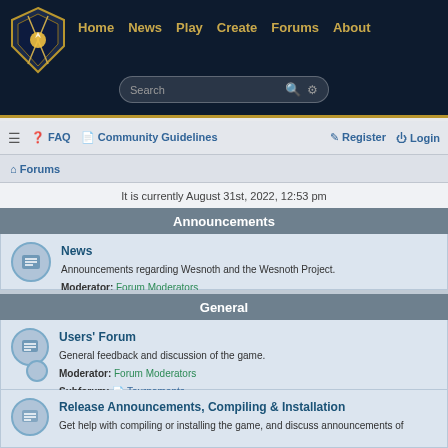Home  News  Play  Create  Forums  About
Announcements
News
Announcements regarding Wesnoth and the Wesnoth Project.
Moderator: Forum Moderators
Topics: 124
General
Users' Forum
General feedback and discussion of the game.
Moderator: Forum Moderators
Subforum: Tournaments
Topics: 5274
Release Announcements, Compiling & Installation
Get help with compiling or installing the game, and discuss announcements of